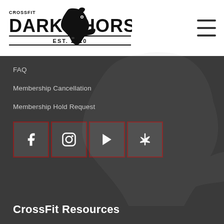[Figure (logo): CrossFit Dark Horse logo with horse head silhouette, text reading CROSSFIT DARK HORSE EST. 2010]
[Figure (other): Hamburger menu icon (three horizontal lines)]
FAQ
Membership Cancellation
Membership Hold Request
[Figure (other): Social media icons row: Facebook, Instagram, YouTube, Yelp - each in red-bordered dark square boxes]
CrossFit Resources